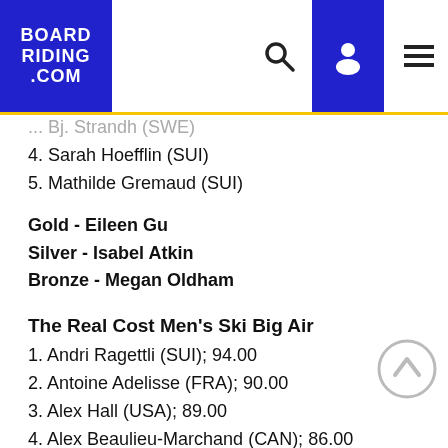BOARDRIDING.COM
... Bj. Strandh (SWE)
4. Sarah Hoefflin (SUI)
5. Mathilde Gremaud (SUI)
Gold - Eileen Gu
Silver - Isabel Atkin
Bronze - Megan Oldham
The Real Cost Men's Ski Big Air
1. Andri Ragettli (SUI); 94.00
2. Antoine Adelisse (FRA); 90.00
3. Alex Hall (USA); 89.00
4. Alex Beaulieu-Marchand (CAN); 86.00
5. Evan McEachran (CAN); 86.00
6. Henrik Harlaut (SWE); 83.00
7. James Woods (GBR); 78.00
8. Quinn Wolferman (USA); 63.00
Gold - Andri Ragettli